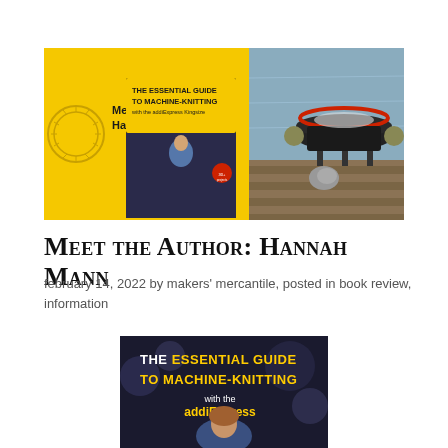[Figure (photo): Banner image showing two panels: left panel has yellow background with 'Meet the Author: Hannah Mann' text and book cover for 'The Essential Guide to Machine Knitting with the addiExpress Kingsize', right panel shows a circular knitting machine on a wooden deck]
Meet the Author: Hannah Mann
february 14, 2022 by makers' mercantile, posted in book review, information
[Figure (photo): Book cover for 'The Essential Guide to Machine Knitting with the addiExpress' showing a woman and decorative background]